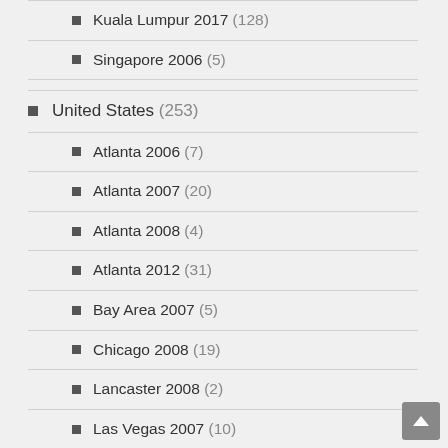Kuala Lumpur 2017 (128)
Singapore 2006 (5)
United States (253)
Atlanta 2006 (7)
Atlanta 2007 (20)
Atlanta 2008 (4)
Atlanta 2012 (31)
Bay Area 2007 (5)
Chicago 2008 (19)
Lancaster 2008 (2)
Las Vegas 2007 (10)
New York 2007 (28)